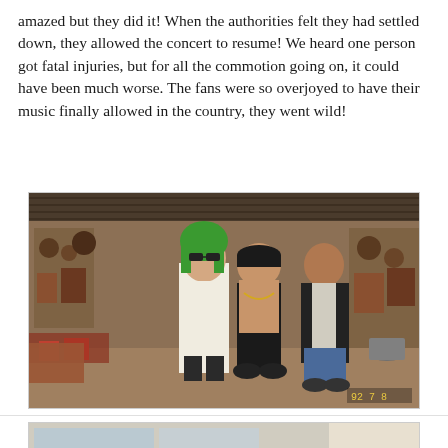amazed but they did it! When the authorities felt they had settled down, they allowed the concert to resume! We heard one person got fatal injuries, but for all the commotion going on, it could have been much worse. The fans were so overjoyed to have their music finally allowed in the country, they went wild!
[Figure (photo): Three people standing in front of a shop filled with traditional crafts and decorations. One person has green hair and wears sunglasses and a white outfit, the middle person is shirtless, and the third wears a black jacket. A date stamp '92 7 8' is visible in the bottom right corner.]
[Figure (photo): A group of people sitting around a table eating or socializing in what appears to be an outdoor or semi-outdoor restaurant or cafe setting.]